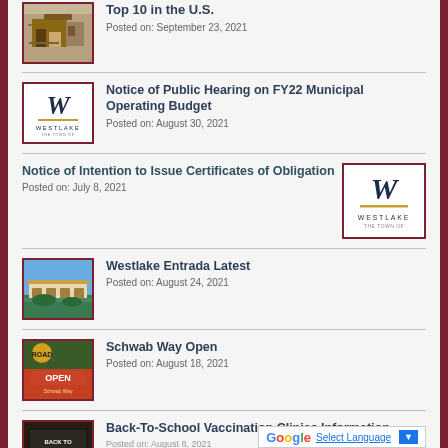[Figure (photo): Partial photo of a house/building - top of page, cropped]
Top 10 in the U.S.
Posted on: September 23, 2021
[Figure (logo): Town of Westlake W logo]
Notice of Public Hearing on FY22 Municipal Operating Budget
Posted on: August 30, 2021
Notice of Intention to Issue Certificates of Obligation
Posted on: July 8, 2021
[Figure (logo): Town of Westlake W logo large]
[Figure (photo): Photo of Westlake Entrada bridge/building]
Westlake Entrada Latest
Posted on: August 24, 2021
[Figure (photo): Road Open Schwab Way sign]
Schwab Way Open
Posted on: August 18, 2021
[Figure (photo): Back to School Vaccinations chalkboard sign]
Back-To-School Vaccination Clinics Information
Posted on: August 8, 2021
Select Language